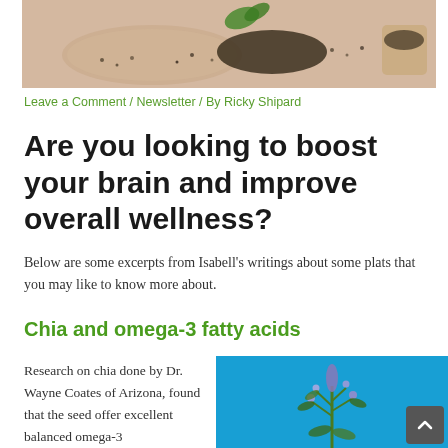[Figure (photo): Top image showing chia seeds on salmon/peach colored background with a plate]
Leave a Comment / Newsletter / By Ricky Shipard
Are you looking to boost your brain and improve overall wellness?
Below are some excerpts from Isabell's writings about some plats that you may like to know more about.
Chia and omega-3 fatty acids
Research on chia done by Dr. Wayne Coates of Arizona, found that the seed offer excellent balanced omega-3
[Figure (photo): Photo of a chia plant with purple flowers against a bright blue background]